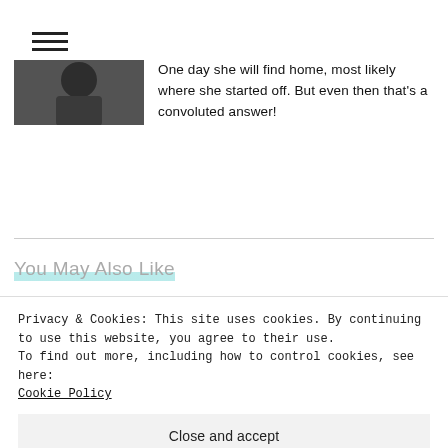[Figure (other): Hamburger menu icon (three horizontal lines)]
[Figure (photo): Small thumbnail image showing a dark silhouette figure outdoors]
One day she will find home, most likely where she started off. But even then that's a convoluted answer!
[Figure (illustration): Partial article thumbnail image showing black and white floral/decorative illustration]
You May Also Like
Privacy & Cookies: This site uses cookies. By continuing to use this website, you agree to their use.
To find out more, including how to control cookies, see here:
Cookie Policy
Close and accept